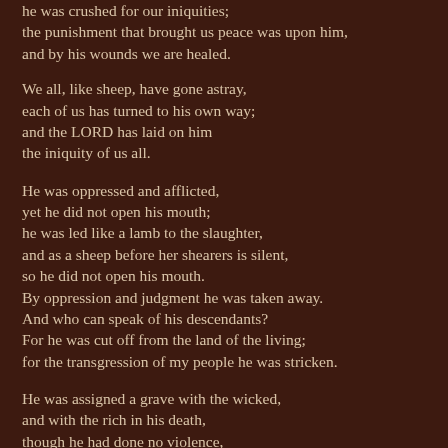he was crushed for our iniquities; the punishment that brought us peace was upon him, and by his wounds we are healed.
We all, like sheep, have gone astray, each of us has turned to his own way; and the LORD has laid on him the iniquity of us all.
He was oppressed and afflicted, yet he did not open his mouth; he was led like a lamb to the slaughter, and as a sheep before her shearers is silent, so he did not open his mouth. By oppression and judgment he was taken away. And who can speak of his descendants? For he was cut off from the land of the living; for the transgression of my people he was stricken.
He was assigned a grave with the wicked, and with the rich in his death, though he had done no violence, nor was any deceit in his mouth.